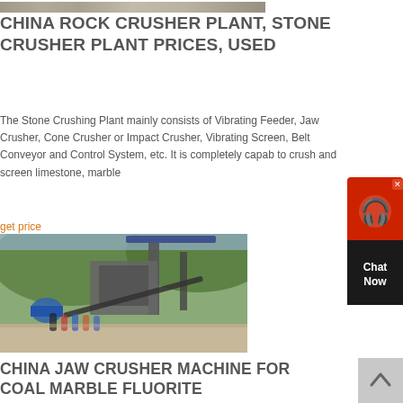[Figure (photo): Top banner image of rocky/dusty terrain, partially visible]
CHINA ROCK CRUSHER PLANT, STONE CRUSHER PLANT PRICES, USED
The Stone Crushing Plant mainly consists of Vibrating Feeder, Jaw Crusher, Cone Crusher or Impact Crusher, Vibrating Screen, Belt Conveyor and Control System, etc. It is completely capable to crush and screen limestone, marble
get price
[Figure (photo): Photo of a stone crusher plant with machinery and workers standing in front, green hillside in background]
CHINA JAW CRUSHER MACHINE FOR COAL MARBLE FLUORITE
[Figure (other): Live chat widget showing a chat support button with red/black colors, X close button, and 'Chat Now' text]